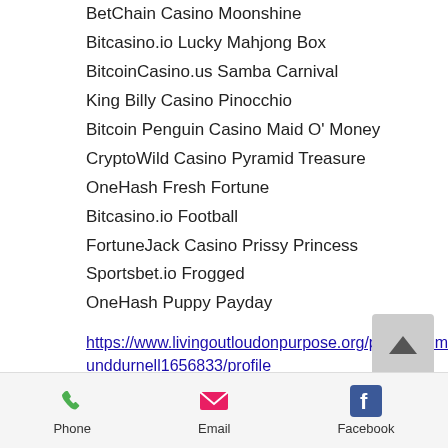BetChain Casino Moonshine
Bitcasino.io Lucky Mahjong Box
BitcoinCasino.us Samba Carnival
King Billy Casino Pinocchio
Bitcoin Penguin Casino Maid O' Money
CryptoWild Casino Pyramid Treasure
OneHash Fresh Fortune
Bitcasino.io Football
FortuneJack Casino Prissy Princess
Sportsbet.io Frogged
OneHash Puppy Payday
https://www.livingoutloudonpurpose.org/profile/edmunddurnell1656833/profile https://www.int-torg.com/profile/blanchbrussell13912769/profile https://www.mermaidkellyvi.com/profile/garrettcrossley13108303/profile
Phone  Email  Facebook